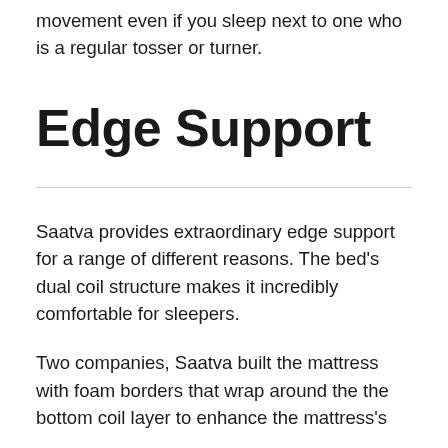movement even if you sleep next to one who is a regular tosser or turner.
Edge Support
Saatva provides extraordinary edge support for a range of different reasons. The bed's dual coil structure makes it incredibly comfortable for sleepers.
Two companies, Saatva built the mattress with foam borders that wrap around the the bottom coil layer to enhance the mattress's